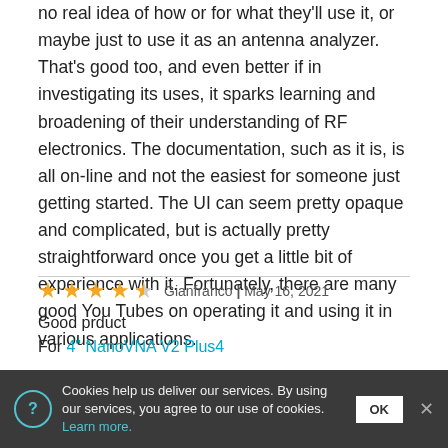no real idea of how or for what they'll use it, or maybe just to use it as an antenna analyzer. That's good too, and even better if in investigating its uses, it sparks learning and broadening of their understanding of RF electronics. The documentation, such as it is, is all on-line and not the easiest for someone just getting started. The UI can seem pretty opaque and complicated, but is actually pretty straightforward once you get a little bit of experience with it. Fortunately, there are many good You Tubes on operating it and using it in various applications.
Gianfranco | May 16, 2021
Good prduct
For 4" NanoVNA V2 Plus4
Cookies help us deliver our services. By using our services, you agree to our use of cookies. Learn more.